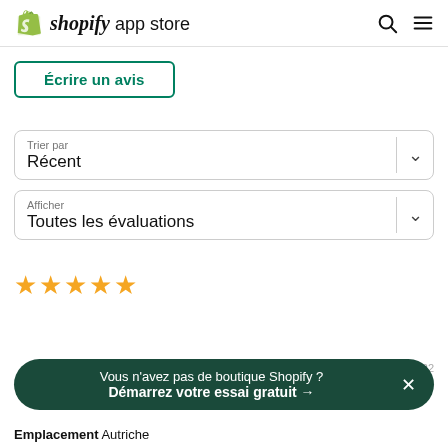shopify app store
Écrire un avis
Trier par
Récent
Afficher
Toutes les évaluations
[Figure (other): Five gold stars rating]
23 août 2022
Vous n'avez pas de boutique Shopify ?
Démarrez votre essai gratuit →
Emplacement  Autriche